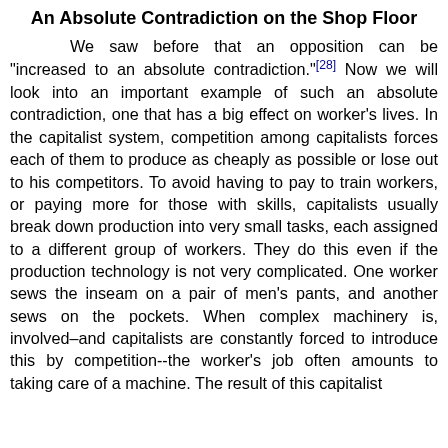An Absolute Contradiction on the Shop Floor
We saw before that an opposition can be “increased to an absolute contradiction.”[28] Now we will look into an important example of such an absolute contradiction, one that has a big effect on worker’s lives. In the capitalist system, competition among capitalists forces each of them to produce as cheaply as possible or lose out to his competitors. To avoid having to pay to train workers, or paying more for those with skills, capitalists usually break down production into very small tasks, each assigned to a different group of workers. They do this even if the production technology is not very complicated. One worker sews the inseam on a pair of men’s pants, and another sews on the pockets. When complex machinery is, involved–and capitalists are constantly forced to introduce this by competition--the worker’s job often amounts to taking care of a machine. The result of this capitalist